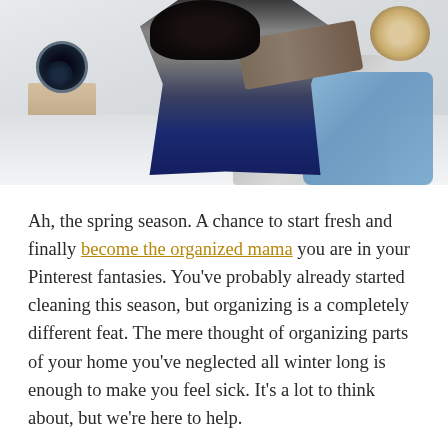[Figure (photo): A woman making a bed, arranging pillows. She has curly dark hair and wears a gray t-shirt and blue jeans. There is a decorative dark circular item on a nightstand to the left, a rattan mirror on the upper right wall, a fluffy gray pillow and a blue pillow on the bed. The background is light/white walls.]
Ah, the spring season. A chance to start fresh and finally become the organized mama you are in your Pinterest fantasies. You've probably already started cleaning this season, but organizing is a completely different feat. The mere thought of organizing parts of your home you've neglected all winter long is enough to make you feel sick. It's a lot to think about, but we're here to help.